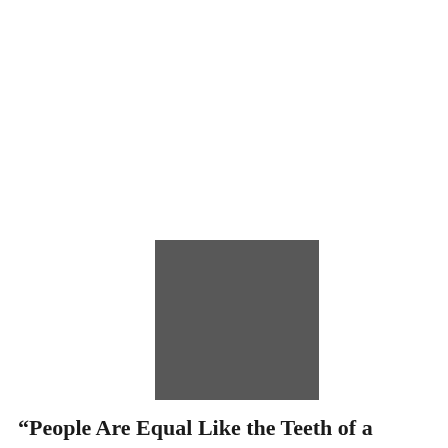[Figure (other): A solid dark gray square rectangle centered in the upper-middle portion of the page.]
“People Are Equal Like the Teeth of a